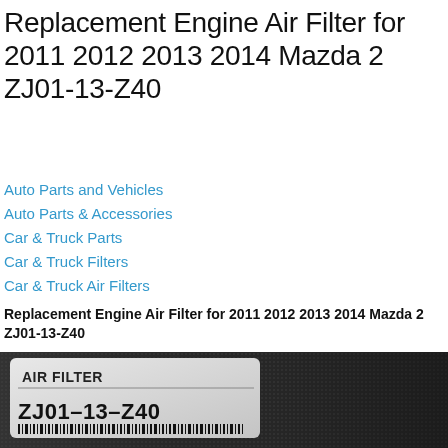Replacement Engine Air Filter for 2011 2012 2013 2014 Mazda 2 ZJ01-13-Z40
Auto Parts and Vehicles
Auto Parts & Accessories
Car & Truck Parts
Car & Truck Filters
Car & Truck Air Filters
Replacement Engine Air Filter for 2011 2012 2013 2014 Mazda 2 ZJ01-13-Z40
[Figure (photo): Product photo showing a Mazda air filter label with part number ZJ01-13-Z40 on a dark dotted background]